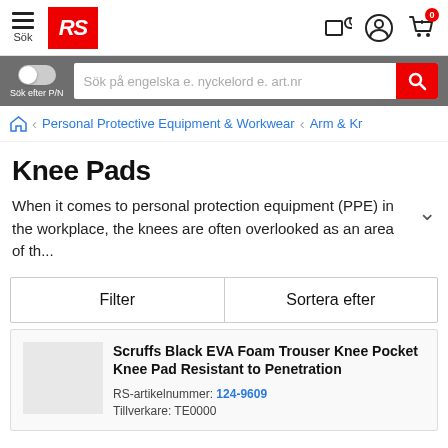RS Components website header with hamburger menu, Sök, RS logo, store locator icon, account icon, and cart icon (0 items)
Sök efter P/N — search input: Sök på engelska e. nyckelord e. art.nr
Personal Protective Equipment & Workwear > Arm & Kr
Knee Pads
When it comes to personal protection equipment (PPE) in the workplace, the knees are often overlooked as an area of th...
| Filter | Sortera efter |
| --- | --- |
Scruffs Black EVA Foam Trouser Knee Pocket Knee Pad Resistant to Penetration
RS-artikelnummer: 124-9609
Tillverkare: TE0000